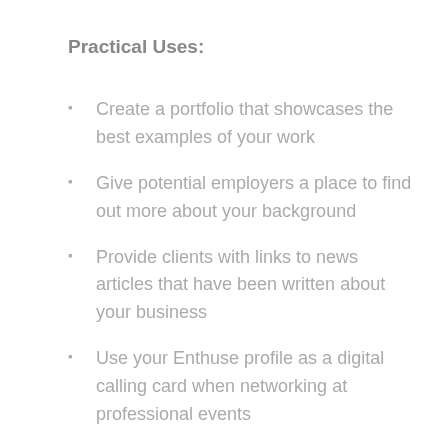Practical Uses:
Create a portfolio that showcases the best examples of your work
Give potential employers a place to find out more about your background
Provide clients with links to news articles that have been written about your business
Use your Enthuse profile as a digital calling card when networking at professional events